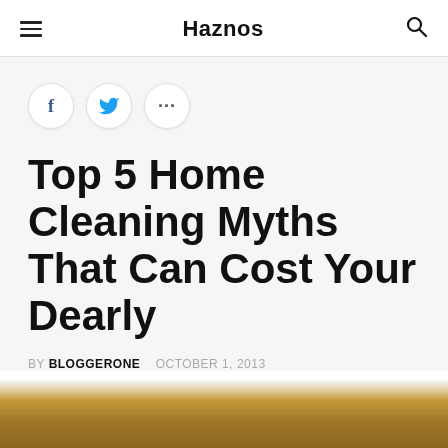Haznos
Top 5 Home Cleaning Myths That Can Cost Your Dearly
BY BLOGGERONE   OCTOBER 1, 2013
[Figure (photo): Partial view of a wooden surface or shelf, golden-brown color, visible at the bottom of the page as a horizontal strip.]